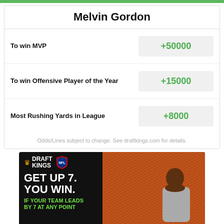Melvin Gordon
| Bet | Odds |
| --- | --- |
| To win MVP | +50000 |
| To win Offensive Player of the Year | +15000 |
| Most Rushing Yards in League | +8000 |
Odds/Lines subject to change. See draftkings.com for details.
[Figure (photo): DraftKings NFL advertisement featuring Kevin Hart. Text reads: GET UP 7. YOU WIN. IF YOUR TEAM LEADS BY 7 AT ANY POINT]